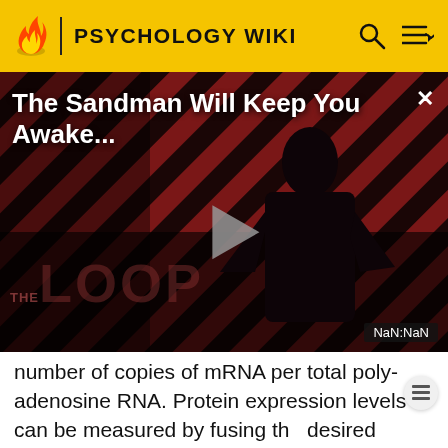PSYCHOLOGY WIKI
[Figure (screenshot): Video player panel showing 'The Sandman Will Keep You Awake...' with a dark red striped background, a figure in black, a play button in the center, 'THE LOOP' text at bottom left, and a NaN:NaN timestamp at bottom right.]
number of copies of mRNA per total poly-adenosine RNA. Protein expression levels can be measured by fusing the desired protein to another reporter protein, such as the green fluorescent protein or the enzyme beta-galactosidase. The expression level of these reporter